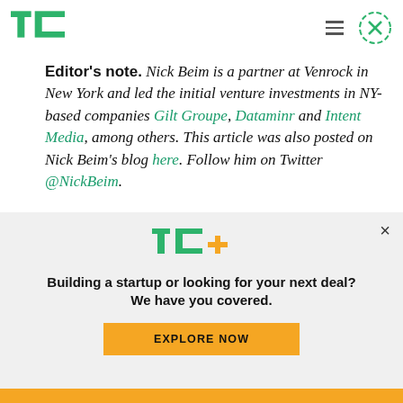TechCrunch logo, hamburger menu, close button
Editor's note. Nick Beim is a partner at Venrock in New York and led the initial venture investments in NY-based companies Gilt Groupe, Dataminr and Intent Media, among others. This article was also posted on Nick Beim's blog here. Follow him on Twitter @NickBeim.
Photo by Flickr user Erik Drost under a CC by 2.0 license. The
[Figure (logo): TechCrunch TC+ promotional banner with headline 'Building a startup or looking for your next deal? We have you covered.' and an EXPLORE NOW button]
Building a startup or looking for your next deal? We have you covered.